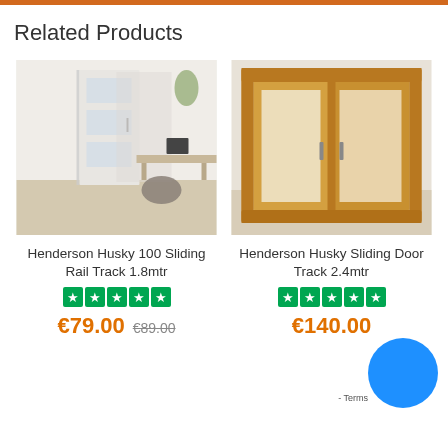Related Products
[Figure (photo): White sliding door in a modern home office room with desk and chair]
Henderson Husky 100 Sliding Rail Track 1.8mtr
[Figure (other): Five green star rating boxes]
€79.00 €89.00
[Figure (photo): Oak sliding door with frosted glass panels and wooden frame]
Henderson Husky Sliding Door Track 2.4mtr
[Figure (other): Five green star rating boxes]
€140.00